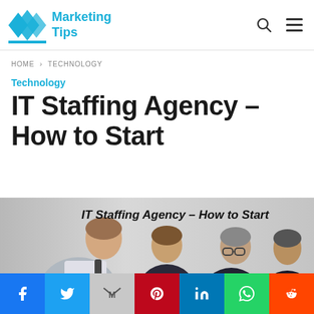Marketing Tips
HOME › TECHNOLOGY
Technology
IT Staffing Agency – How to Start
[Figure (photo): Four businessmen in suits looking down at a desk/document, with italic bold text overlay reading 'IT Staffing Agency – How to Start'. A scroll-to-top arrow button is visible at bottom right.]
Social share buttons: Facebook, Twitter, Gmail/Email, Pinterest, LinkedIn, WhatsApp, Reddit